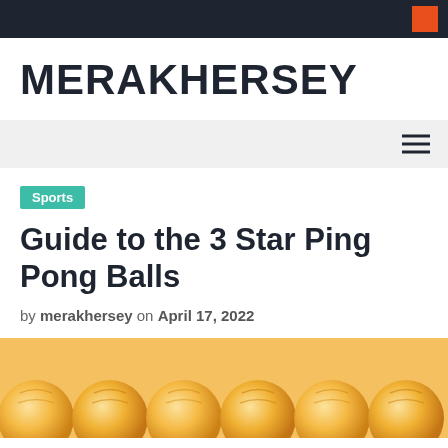MERAKHERSEY
Sports
Guide to the 3 Star Ping Pong Balls
by merakhersey on April 17, 2022
[Figure (photo): Orange/golden ping pong balls arranged in a row, visible from above, partially cropped at bottom of page.]